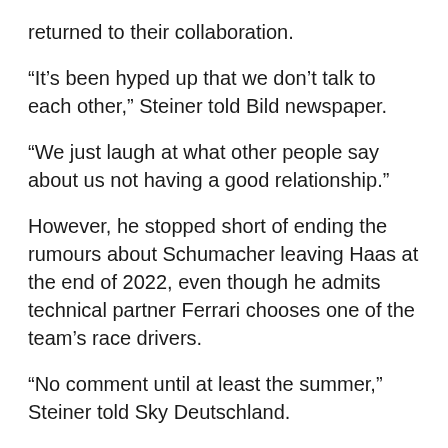returned to their collaboration.
“It’s been hyped up that we don’t talk to each other,” Steiner told Bild newspaper.
“We just laugh at what other people say about us not having a good relationship.”
However, he stopped short of ending the rumours about Schumacher leaving Haas at the end of 2022, even though he admits technical partner Ferrari chooses one of the team’s race drivers.
“No comment until at least the summer,” Steiner told Sky Deutschland.
“These are rumours that would disturb the team internally. From the outside, they talk about it to create a bit of theatre.
“We have to work calmly. I will defend Mick and we will